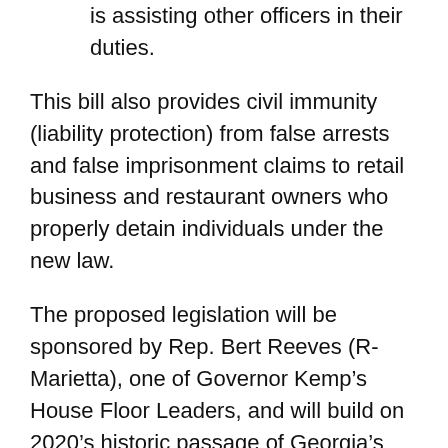is assisting other officers in their duties.
This bill also provides civil immunity (liability protection) from false arrests and false imprisonment claims to retail business and restaurant owners who properly detain individuals under the new law.
The proposed legislation will be sponsored by Rep. Bert Reeves (R-Marietta), one of Governor Kemp’s House Floor Leaders, and will build on 2020’s historic passage of Georgia’s hate crimes legislation, House Bill 426, which empowers law enforcement and prosecutors to seek enhanced sentencing in cases where the victim is targeted out of hate or bias.